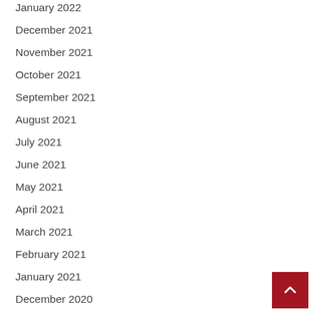January 2022
December 2021
November 2021
October 2021
September 2021
August 2021
July 2021
June 2021
May 2021
April 2021
March 2021
February 2021
January 2021
December 2020